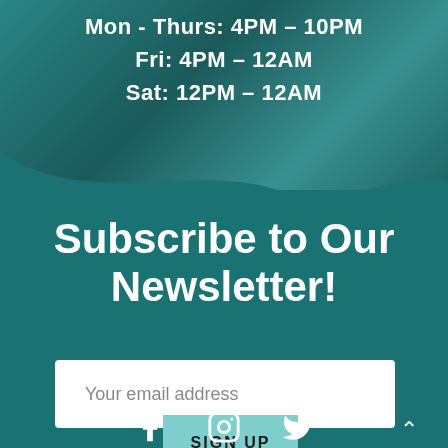Mon - Thurs: 4PM – 10PM
Fri: 4PM – 12AM
Sat: 12PM – 12AM
Subscribe to Our Newsletter!
Your email address
SIGN UP